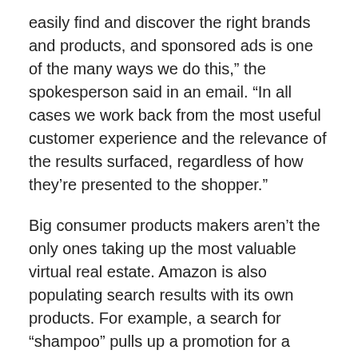easily find and discover the right brands and products, and sponsored ads is one of the many ways we do this,” the spokesperson said in an email. “In all cases we work back from the most useful customer experience and the relevance of the results surfaced, regardless of how they’re presented to the shopper.”
Big consumer products makers aren’t the only ones taking up the most valuable virtual real estate. Amazon is also populating search results with its own products. For example, a search for “shampoo” pulls up a promotion for a bottle of Amazon brand Solimo before ads for products from Pantene, Nexxus, L’Oreal and others.
Sponsored product ads accounted for roughly 73% of retailers’ ad spend on Amazon in the second quarter, according to digital marketing agency Merkle. Last year,